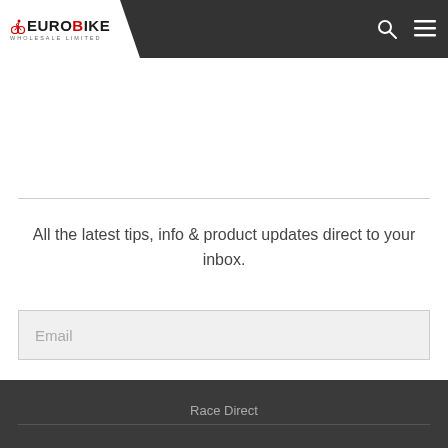EUROBIKE WHOLESALE LIMITED
All the latest tips, info & product updates direct to your inbox.
[Figure (other): Email input field with placeholder text 'Email' and a red skewed subscribe button below]
Race Direct